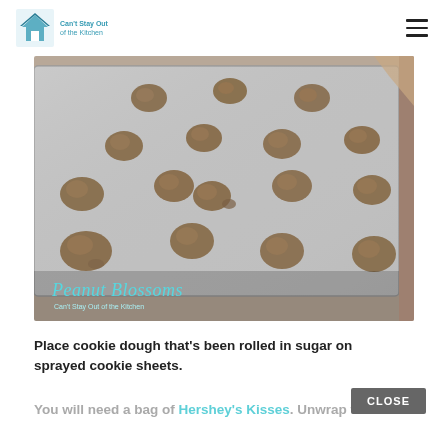Can't Stay Out of the Kitchen (logo) | hamburger menu
[Figure (photo): Cookie dough balls rolled in sugar arranged on a metal baking sheet, with text overlay reading 'Peanut Blossoms' and 'Can't Stay Out of the Kitchen']
Place cookie dough that's been rolled in sugar on sprayed cookie sheets.
You will need a bag of Hershey's Kisses. Unwrap the